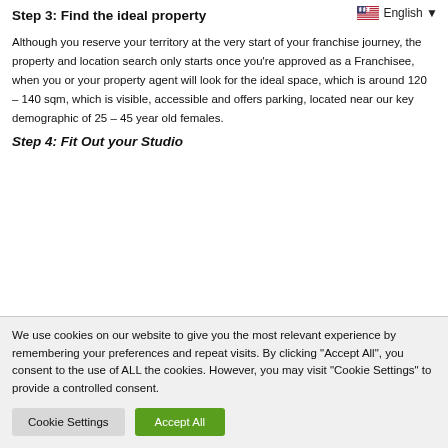Step 3: Find the ideal property
Although you reserve your territory at the very start of your franchise journey, the property and location search only starts once you're approved as a Franchisee, when you or your property agent will look for the ideal space, which is around 120 – 140 sqm, which is visible, accessible and offers parking, located near our key demographic of 25 – 45 year old females.
Step 4: Fit Out your Studio
We use cookies on our website to give you the most relevant experience by remembering your preferences and repeat visits. By clicking "Accept All", you consent to the use of ALL the cookies. However, you may visit "Cookie Settings" to provide a controlled consent.